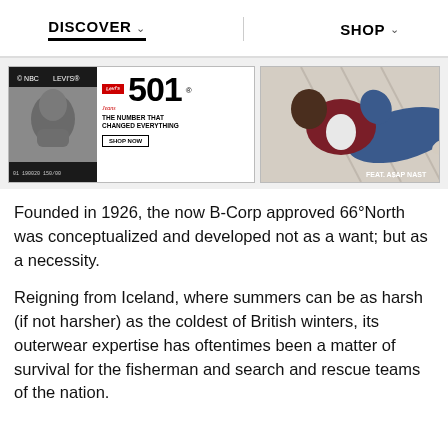DISCOVER  SHOP
[Figure (photo): Levi's 501 Jeans advertisement banner with a black-and-white archive photo on the left, Levi's 501 logo and 'THE NUMBER THAT CHANGED EVERYTHING / SHOP NOW' text in the center, and a color photo of a man (A$AP Nast) lounging in jeans on the right.]
Founded in 1926, the now B-Corp approved 66°North was conceptualized and developed not as a want; but as a necessity.
Reigning from Iceland, where summers can be as harsh (if not harsher) as the coldest of British winters, its outerwear expertise has oftentimes been a matter of survival for the fisherman and search and rescue teams of the nation.